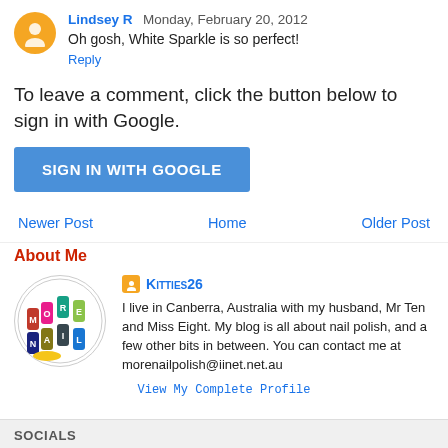Lindsey R  Monday, February 20, 2012
Oh gosh, White Sparkle is so perfect!
Reply
To leave a comment, click the button below to sign in with Google.
[Figure (other): Blue SIGN IN WITH GOOGLE button]
Newer Post
Home
Older Post
About Me
[Figure (logo): Circular logo with colorful nail polish bottles spelling MORE NAIL POLISH]
Kitties26
I live in Canberra, Australia with my husband, Mr Ten and Miss Eight. My blog is all about nail polish, and a few other bits in between. You can contact me at morenailpolish@iinet.net.au
View My Complete Profile
SOCIALS